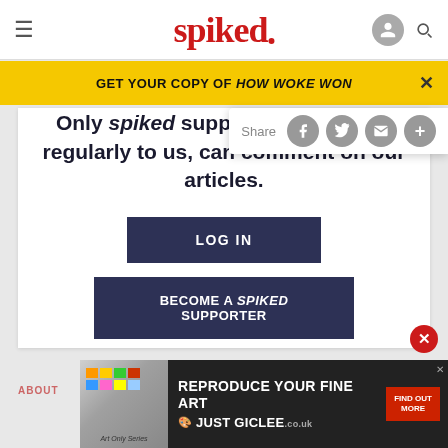spiked
GET YOUR COPY OF HOW WOKE WON
Share
Only spiked supporters, who give regularly to us, can comment on our articles.
LOG IN
BECOME A SPIKED SUPPORTER
ABOUT
[Figure (screenshot): Advertisement banner: REPRODUCE YOUR FINE ART / JUST GICLEE with FIND OUT MORE button]